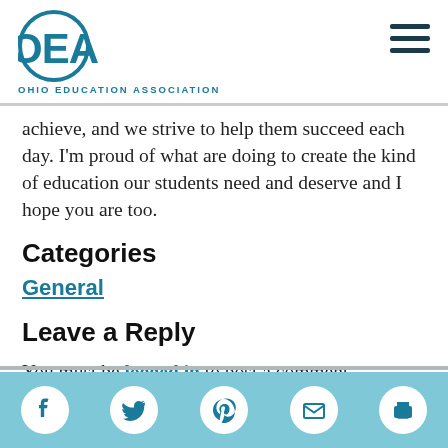OEA OHIO EDUCATION ASSOCIATION
achieve, and we strive to help them succeed each day. I'm proud of what are doing to create the kind of education our students need and deserve and I hope you are too.
Categories
General
Leave a Reply
You must be logged in to post a comment.
Social share icons: Facebook, Twitter, Pinterest, Email, Print